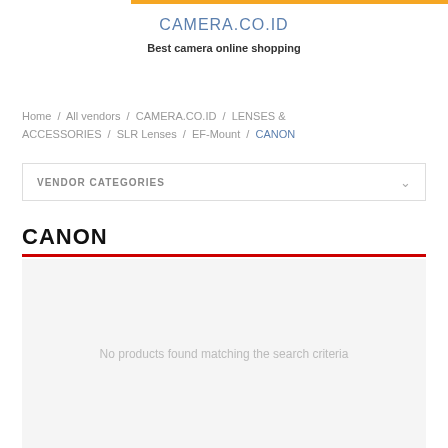CAMERA.CO.ID
Best camera online shopping
Home / All vendors / CAMERA.CO.ID / LENSES & ACCESSORIES / SLR Lenses / EF-Mount / CANON
VENDOR CATEGORIES
CANON
No products found matching the search criteria